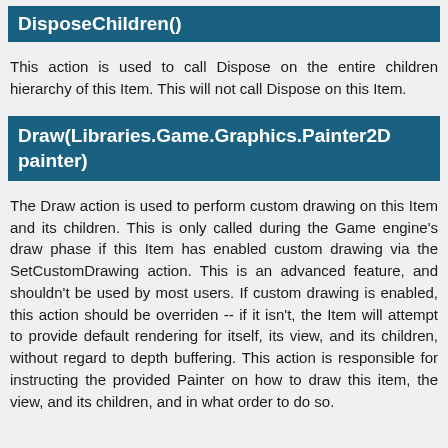DisposeChildren()
This action is used to call Dispose on the entire children hierarchy of this Item. This will not call Dispose on this Item.
Draw(Libraries.Game.Graphics.Painter2D painter)
The Draw action is used to perform custom drawing on this Item and its children. This is only called during the Game engine's draw phase if this Item has enabled custom drawing via the SetCustomDrawing action. This is an advanced feature, and shouldn't be used by most users. If custom drawing is enabled, this action should be overriden -- if it isn't, the Item will attempt to provide default rendering for itself, its view, and its children, without regard to depth buffering. This action is responsible for instructing the provided Painter on how to draw this item, the view, and its children, and in what order to do so.